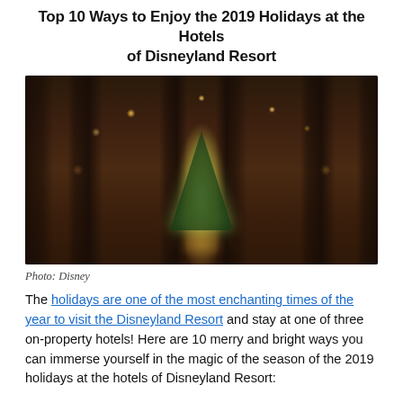Top 10 Ways to Enjoy the 2019 Holidays at the Hotels of Disneyland Resort
[Figure (photo): Interior of a Disneyland Resort hotel lobby decorated for the holidays with a large lit Christmas tree as the centerpiece, warm wood-and-stone architecture, hanging lantern lights, and festive greenery.]
Photo: Disney
The holidays are one of the most enchanting times of the year to visit the Disneyland Resort and stay at one of three on-property hotels! Here are 10 merry and bright ways you can immerse yourself in the magic of the season of the 2019 holidays at the hotels of Disneyland Resort: